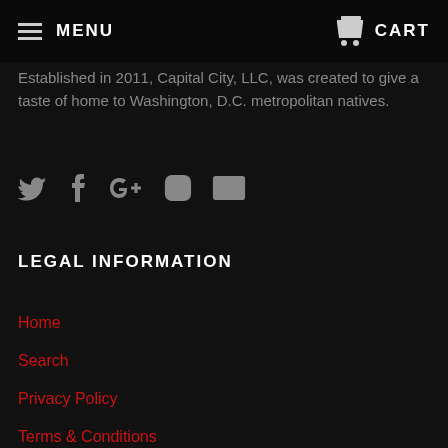MENU   CART
Established in 2011, Capital City, LLC, was created to give a taste of home to Washington, D.C. metropolitan natives.
[Figure (other): Social media icons: Twitter, Facebook, Google+, Instagram, Email]
LEGAL INFORMATION
Home
Search
Privacy Policy
Terms & Conditions
Contact Us
SITE INFORMATION